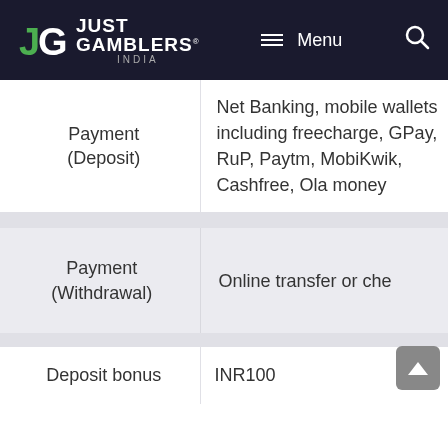Just Gamblers India — Menu
|  |  |
| --- | --- |
| Payment (Deposit) | Net Banking, mobile wallets including freecharge, GPay, RuPay, Paytm, MobiKwik, Cashfree, Ola money |
| Payment (Withdrawal) | Online transfer or cheque |
| Deposit bonus | INR100 |